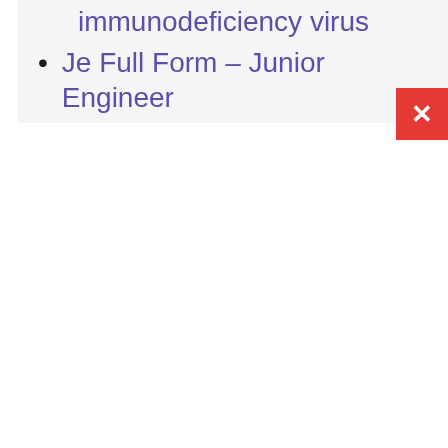HIV Full Form – Human immunodeficiency virus
Je Full Form – Junior Engineer